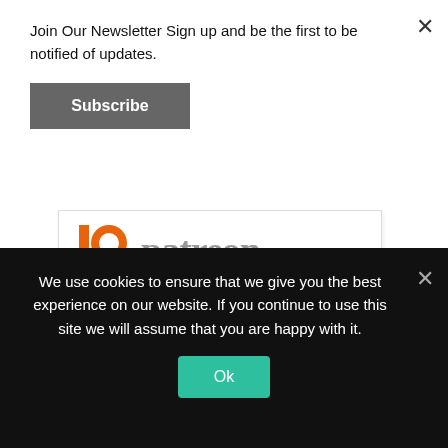Join Our Newsletter Sign up and be the first to be notified of updates.
Subscribe
[Figure (logo): Patreon logo with orange P icon, patreon wordmark, and URL www.patreon.com/mtjc]
Thanks to our current patrons
Shawn Marston
We use cookies to ensure that we give you the best experience on our website. If you continue to use this site we will assume that you are happy with it.
Ok